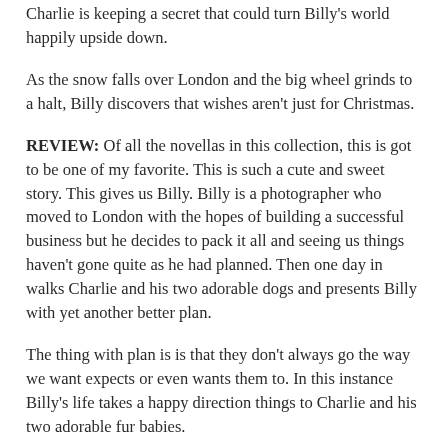Charlie is keeping a secret that could turn Billy's world happily upside down.
As the snow falls over London and the big wheel grinds to a halt, Billy discovers that wishes aren't just for Christmas.
REVIEW: Of all the novellas in this collection, this is got to be one of my favorite. This is such a cute and sweet story. This gives us Billy. Billy is a photographer who moved to London with the hopes of building a successful business but he decides to pack it all and seeing us things haven't gone quite as he had planned. Then one day in walks Charlie and his two adorable dogs and presents Billy with yet another better plan.
The thing with plan is is that they don't always go the way we want expects or even wants them to. In this instance Billy's life takes a happy direction things to Charlie and his two adorable fur babies.